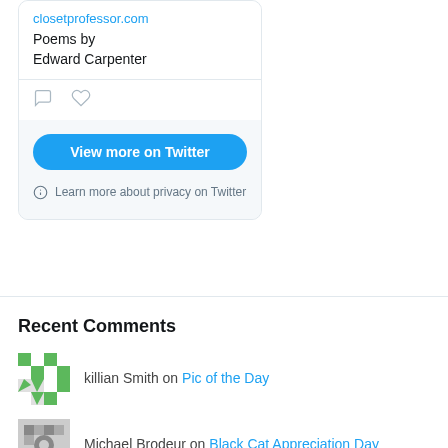[Figure (screenshot): Twitter embedded widget showing a tweet from closetprofessor.com about Poems by Edward Carpenter, with comment and heart icons, a blue 'View more on Twitter' button, and a privacy notice.]
Recent Comments
killian Smith on Pic of the Day
Michael Brodeur on Black Cat Appreciation Day